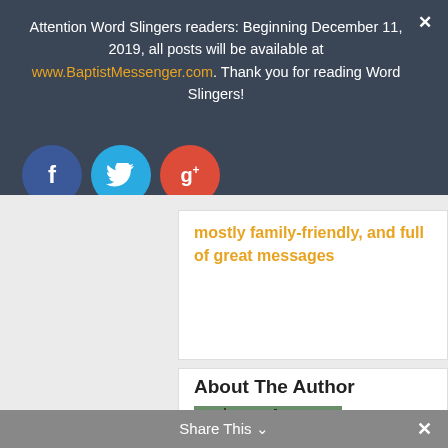Attention Word Slingers readers: Beginning December 11, 2019, all posts will be available at www.BaptistMessenger.com. Thank you for reading Word Slingers!
[Figure (other): Three social media icon buttons: Facebook (blue circle with f), Twitter (light blue circle with bird icon), Google+ (red circle with g+)]
mostly family-friendly, and full of great messages
About The Author
[Figure (photo): Photo of a man outdoors with bare trees in the background]
Share This